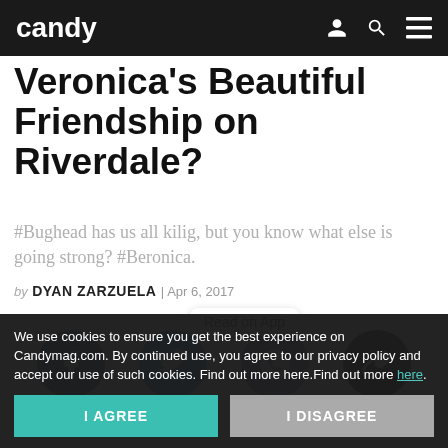candy
Veronica's Beautiful Friendship on Riverdale?
#Bughead has us all kilig, but you know what else is going strong? #Beronica.
by DYAN ZARZUELA | Apr 6, 2017
[Figure (infographic): Social share buttons: Facebook, Twitter, Viber, Copy Link. A 'Read on App' tooltip appears above the buttons.]
We use cookies to ensure you get the best experience on Candymag.com. By continued use, you agree to our privacy policy and accept our use of such cookies. Find out more here.Find out more here.